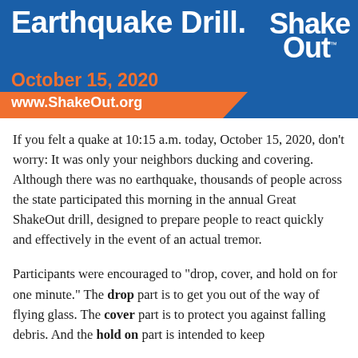[Figure (logo): ShakeOut Earthquake Drill banner with blue background, orange date bar showing October 15, 2020, website www.ShakeOut.org, and ShakeOut logo in white text]
If you felt a quake at 10:15 a.m. today, October 15, 2020, don't worry: It was only your neighbors ducking and covering. Although there was no earthquake, thousands of people across the state participated this morning in the annual Great ShakeOut drill, designed to prepare people to react quickly and effectively in the event of an actual tremor.
Participants were encouraged to “drop, cover, and hold on for one minute.” The drop part is to get you out of the way of flying glass. The cover part is to protect you against falling debris. And the hold on part is intended to keep